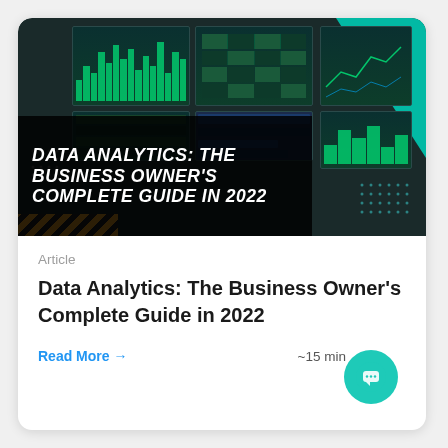[Figure (photo): Hero image of multiple computer monitors displaying data analytics dashboards and financial charts in dark theme, with title text overlay reading 'DATA ANALYTICS: THE BUSINESS OWNER'S COMPLETE GUIDE IN 2022'. Orange chevron stripe in bottom-left, teal geometric accent in top-right.]
Article
Data Analytics: The Business Owner's Complete Guide in 2022
Read More →
~15 min